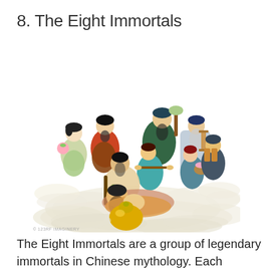8. The Eight Immortals
[Figure (illustration): Traditional Chinese illustration depicting the Eight Immortals standing and sitting on clouds. The figures are dressed in colorful robes and carry various magical implements. One woman holds a peach, others carry flutes, scrolls, fans, and other symbolic objects. A large yellow gourd is visible in the foreground.]
The Eight Immortals are a group of legendary immortals in Chinese mythology.  Each Immortal has his/her own